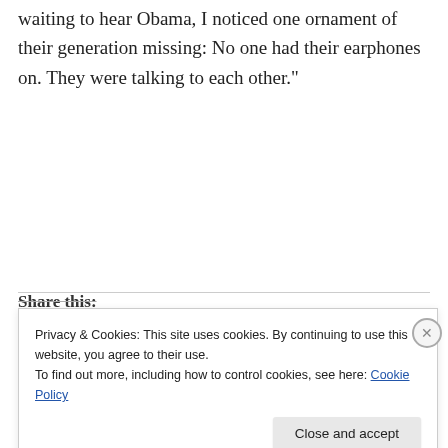waiting to hear Obama, I noticed one ornament of their generation missing: No one had their earphones on. They were talking to each other."
Share this:
Privacy & Cookies: This site uses cookies. By continuing to use this website, you agree to their use.
To find out more, including how to control cookies, see here: Cookie Policy
Close and accept